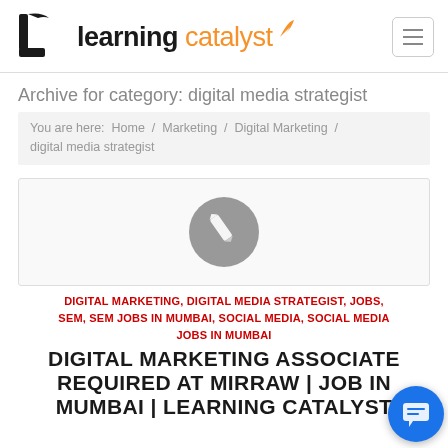[Figure (logo): Learning Catalyst logo with black bracket/L-shape icon and orange 'catalyst' text]
learning catalyst
Archive for category: digital media strategist
You are here: Home / Marketing / Digital Marketing / digital media strategist
[Figure (illustration): Gray rounded rectangle image placeholder with a gray circle containing a white pencil/edit icon]
DIGITAL MARKETING, DIGITAL MEDIA STRATEGIST, JOBS, SEM, SEM JOBS IN MUMBAI, SOCIAL MEDIA, SOCIAL MEDIA JOBS IN MUMBAI
DIGITAL MARKETING ASSOCIATE REQUIRED AT MIRRAW | JOB IN MUMBAI | LEARNING CATALYST